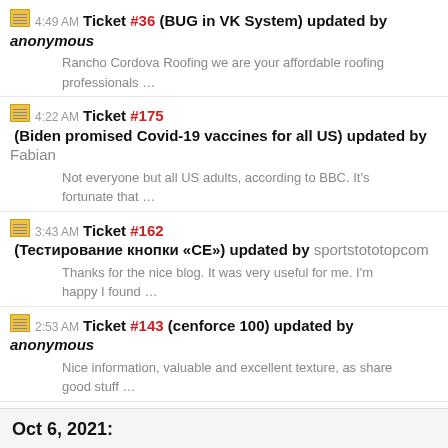4:49 AM Ticket #36 (BUG in VK System) updated by anonymous
Rancho Cordova Roofing we are your affordable roofing professionals …
4:22 AM Ticket #175 (Biden promised Covid-19 vaccines for all US) updated by Fabian
Not everyone but all US adults, according to BBC. It's fortunate that …
3:43 AM Ticket #162 (Тестирование кнопки «CE») updated by sportstototopcom
Thanks for the nice blog. It was very useful for me. I'm happy I found …
2:53 AM Ticket #143 (cenforce 100) updated by anonymous
Nice information, valuable and excellent texture, as share good stuff …
Oct 6, 2021: